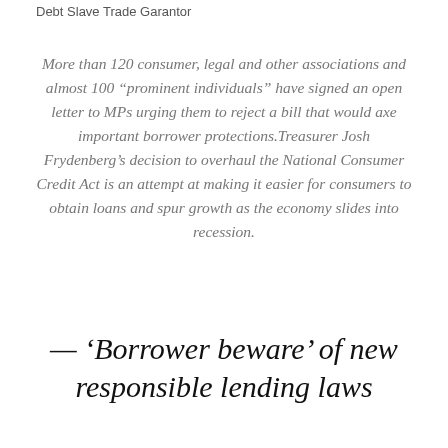Debt Slave Trade Garantor
More than 120 consumer, legal and other associations and almost 100 “prominent individuals” have signed an open letter to MPs urging them to reject a bill that would axe important borrower protections.Treasurer Josh Frydenberg’s decision to overhaul the National Consumer Credit Act is an attempt at making it easier for consumers to obtain loans and spur growth as the economy slides into recession.
— ‘Borrower beware’ of new responsible lending laws